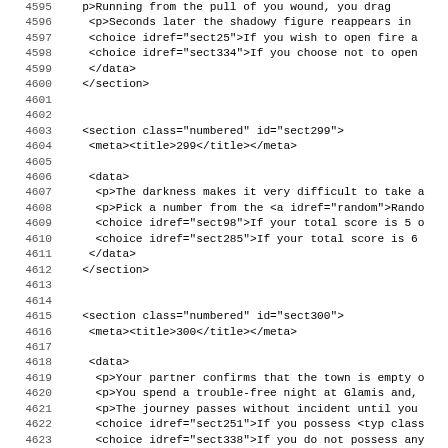Code listing showing XML source lines 4595-4627
4595: p>Running from the pull of you wound, you drag
4596:   <p>Seconds later the shadowy figure reappears in
4597:   <choice idref="sect25">If you wish to open fire a
4598:   <choice idref="sect334">If you choose not to open
4599:   </data>
4600:   </section>
4601:
4602:
4603:   <section class="numbered" id="sect299">
4604:    <meta><title>299</title></meta>
4605:
4606:    <data>
4607:     <p>The darkness makes it very difficult to take a
4608:     <p>Pick a number from the <a idref="random">Rando
4609:     <choice idref="sect98">If your total score is 5 o
4610:     <choice idref="sect285">If your total score is 6
4611:    </data>
4612:   </section>
4613:
4614:
4615:   <section class="numbered" id="sect300">
4616:    <meta><title>300</title></meta>
4617:
4618:    <data>
4619:     <p>Your partner confirms that the town is empty o
4620:     <p>You spend a trouble-free night at Glamis and,
4621:     <p>The journey passes without incident until you
4622:     <choice idref="sect251">If you possess <typ class
4623:     <choice idref="sect338">If you do not possess any
4624:    </data>
4625:   </section>
4626:
4627: